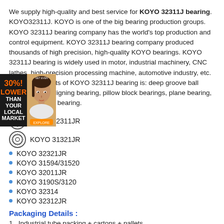We supply high-quality and best service for KOYO 32311J bearing. KOYO32311J. KOYO is one of the big bearing production groups. KOYO 32311J bearing company has the world's top production and control equipment. KOYO 32311J bearing company produced thousands of high precision, high-quality KOYO bearings. KOYO 32311J bearing is widely used in motor, industrial machinery, CNC lathes, high-precision processing machine, automotive industry, etc. Leading products of KOYO 32311J bearing is: deep groove ball bearings, self-aligning bearing, pillow block bearings, plane bearing, cylindrical roller bearing.
[Figure (illustration): Advertisement banner on left side showing '30%! LOWER THAN YOUR LOCAL MARKET' text on dark background with orange text, and a portrait photo of a woman on the right side with orange button]
KOYO 32311JR
KOYO 31321JR
KOYO 32321JR
KOYO 31594/31520
KOYO 32011JR
KOYO 3190S/3120
KOYO 32314
KOYO 32312JR
Packaging Details :
1 . Industrial tube packing + cartons + pallets
2 . Individual colorful or white box + carton + pallets
3 . As the clients ' requirement